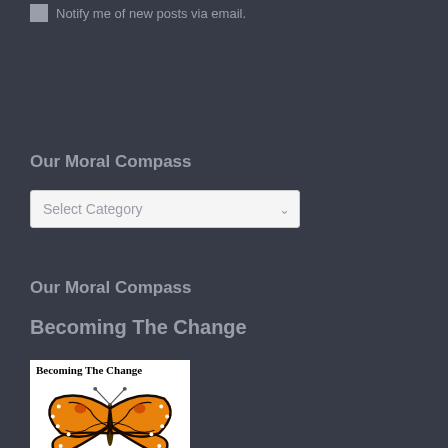Notify me of new posts via email.
Our Moral Compass
Select Category
Our Moral Compass
Becoming The Change
[Figure (illustration): Book cover for 'Becoming The Change' featuring a monarch butterfly with orange and black wings on a white background.]